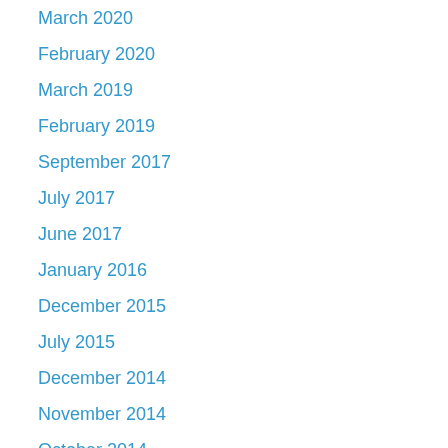March 2020
February 2020
March 2019
February 2019
September 2017
July 2017
June 2017
January 2016
December 2015
July 2015
December 2014
November 2014
October 2014
December 2013
November 2013
October 2013
August 2013
July 2013
June 2013